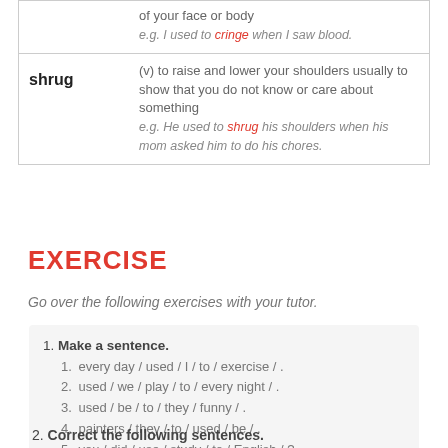| Word | Definition |
| --- | --- |
|  | of your face or body
e.g. I used to cringe when I saw blood. |
| shrug | (v) to raise and lower your shoulders usually to show that you do not know or care about something
e.g. He used to shrug his shoulders when his mom asked him to do his chores. |
EXERCISE
Go over the following exercises with your tutor.
1. Make a sentence.
1. every day / used / I / to / exercise / .
2. used / we / play / to / every night / .
3. used / be / to / they / funny / .
4. painters / they / to / used / be / .
5. you / did / use / study / to / English / ?
2. Correct the following sentences.